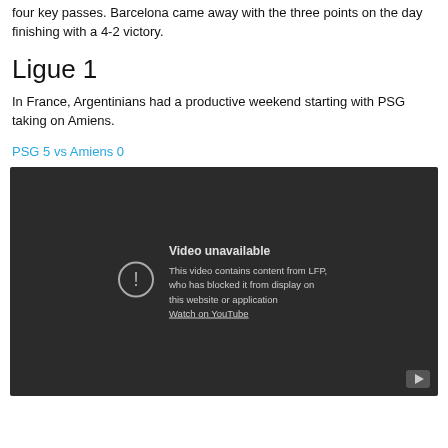four key passes. Barcelona came away with the three points on the day finishing with a 4-2 victory.
Ligue 1
In France, Argentinians had a productive weekend starting with PSG taking on Amiens.
PSG 5 vs Amiens 0
[Figure (screenshot): Embedded YouTube video player showing 'Video unavailable' message. Text reads: 'This video contains content from LFP, who has blocked it from display on this website or application. Watch on YouTube.' A YouTube play button icon is visible in the bottom-right corner.]